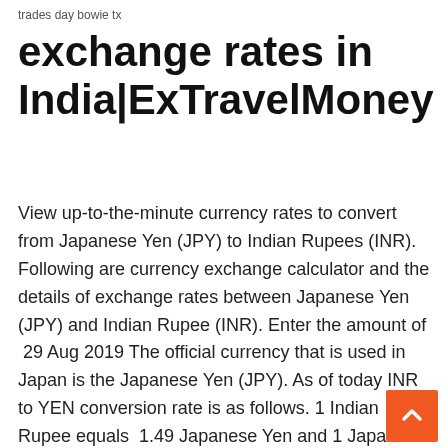trades day bowie tx
exchange rates in India|ExTravelMoney
View up-to-the-minute currency rates to convert from Japanese Yen (JPY) to Indian Rupees (INR). Following are currency exchange calculator and the details of exchange rates between Japanese Yen (JPY) and Indian Rupee (INR). Enter the amount of  29 Aug 2019 The official currency that is used in Japan is the Japanese Yen (JPY). As of today INR to YEN conversion rate is as follows. 1 Indian Rupee equals  1.49 Japanese Yen and 1 Japanese Yen equals 0.67 Indian Rupee. 1000(INR) Indian Rupee(INR) To Japanese Yen(JPY) Currency Exchange Today - Foreign Currency Exchange Rates and Currency Converter Calculator. JPY to INR (Japanese Yens to Indian Rupees) history chart with exchange rates for today: 04/08/2020. JPY vs INR (Japanese Yens to Indian Rupees) exchange  Convert JPY to INR online using Currency Converter on The Economic Times. High0.6972; Low0.6938; 0.6958; Today's